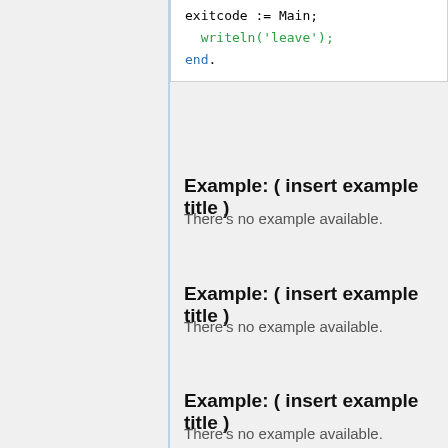[Figure (screenshot): Code block snippet showing Pascal-like code: exitcode := Main; writeln('leave'); end.]
Example: ( insert example title )
There's no example available.
Example: ( insert example title )
There's no example available.
Example: ( insert example title )
There's no example available.